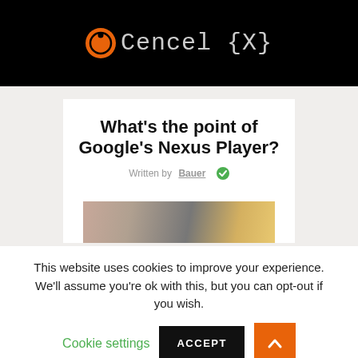OCencel {X}
What's the point of Google's Nexus Player?
Written by Bauer
[Figure (photo): Person holding a small remote or device, partial torso view]
This website uses cookies to improve your experience. We'll assume you're ok with this, but you can opt-out if you wish. Cookie settings ACCEPT